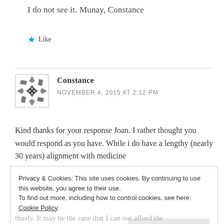I do not see it. Munay, Constance
Like
Constance
NOVEMBER 4, 2015 AT 2:12 PM
Kind thanks for your response Joan. I rather thought you would respond as you have. While i do have a lengthy (nearly 30 years) alignment with medicine
Privacy & Cookies: This site uses cookies. By continuing to use this website, you agree to their use.
To find out more, including how to control cookies, see here: Cookie Policy
Close and accept
thusly. It may be the case that I can not afford the